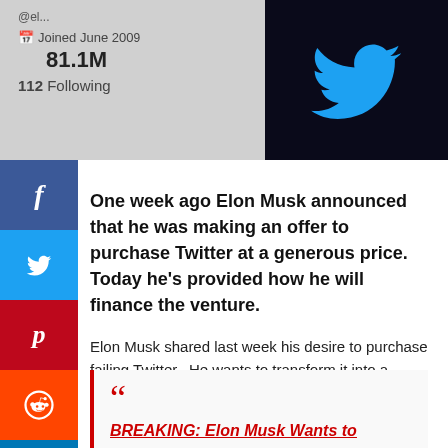[Figure (screenshot): Twitter profile screenshot on the left showing 'Joined June 2009', '81.1M' followers, '112 Following', and Twitter bird logo on dark background on the right]
One week ago Elon Musk announced that he was making an offer to purchase Twitter at a generous price.  Today he's provided how he will finance the venture.
Elon Musk shared last week his desire to purchase failing Twitter.  He wants to transform it into a private company.
BREAKING: Elon Musk Wants to